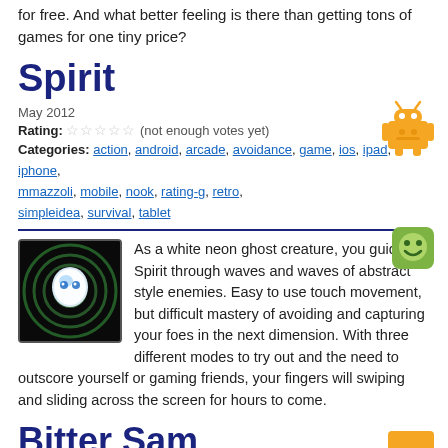for free. And what better feeling is there than getting tons of games for one tiny price?
Spirit
May 2012
Rating: ☆☆☆☆☆ (not enough votes yet)
Categories: action, android, arcade, avoidance, game, ios, ipad, iphone, mmazzoli, mobile, nook, rating-g, retro, simpleidea, survival, tablet
[Figure (illustration): Pixel art android/robot icon in orange]
[Figure (illustration): Green square smiley face icon]
[Figure (illustration): Spirit game icon - white neon ghost creature on dark swirling background]
As a white neon ghost creature, you guide Spirit through waves and waves of abstract style enemies. Easy to use touch movement, but difficult mastery of avoiding and capturing your foes in the next dimension. With three different modes to try out and the need to outscore yourself or gaming friends, your fingers will swiping and sliding across the screen for hours to come.
Bitter Sam